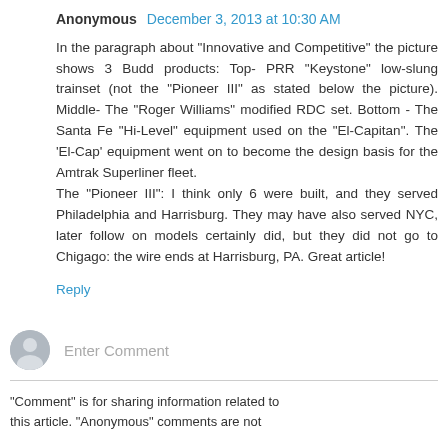Anonymous  December 3, 2013 at 10:30 AM
In the paragraph about "Innovative and Competitive" the picture shows 3 Budd products: Top- PRR "Keystone" low-slung trainset (not the "Pioneer III" as stated below the picture). Middle- The "Roger Williams" modified RDC set. Bottom - The Santa Fe "Hi-Level" equipment used on the "El-Capitan". The 'El-Cap' equipment went on to become the design basis for the Amtrak Superliner fleet.
The "Pioneer III": I think only 6 were built, and they served Philadelphia and Harrisburg. They may have also served NYC, later follow on models certainly did, but they did not go to Chigago: the wire ends at Harrisburg, PA. Great article!
Reply
[Figure (other): User avatar icon for comment input area]
Enter Comment
"Comment" is for sharing information related to this article. "Anonymous" comments are not